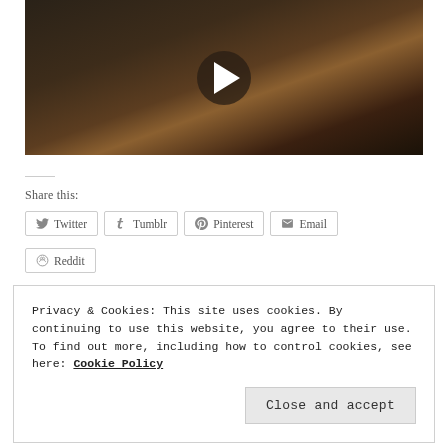[Figure (screenshot): Video thumbnail showing an elderly man with white hair wearing a brown jacket, with a circular play button overlay in the center]
Share this:
Twitter  Tumblr  Pinterest  Email  Reddit
Privacy & Cookies: This site uses cookies. By continuing to use this website, you agree to their use.
To find out more, including how to control cookies, see here: Cookie Policy
Close and accept